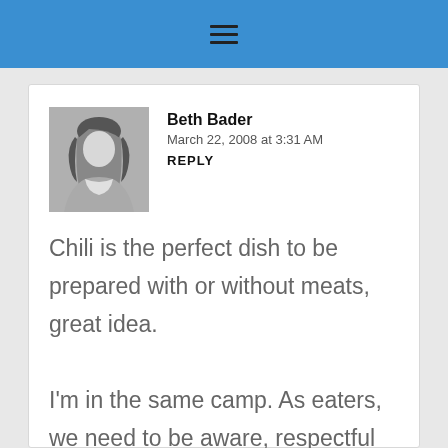≡
Beth Bader
March 22, 2008 at 3:31 AM
REPLY
Chili is the perfect dish to be prepared with or without meats, great idea.

I'm in the same camp. As eaters, we need to be aware, respectful and grateful. We are what we eat.